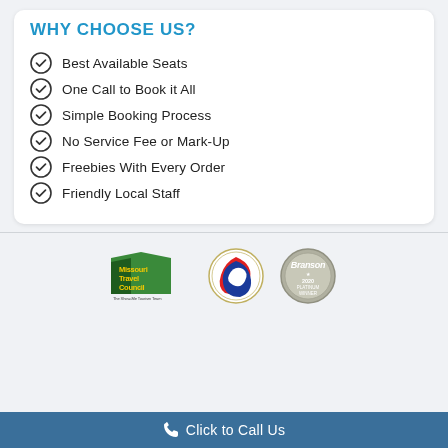WHY CHOOSE US?
Best Available Seats
One Call to Book it All
Simple Booking Process
No Service Fee or Mark-Up
Freebies With Every Order
Friendly Local Staff
[Figure (logo): Missouri Travel Council logo, Spirit of Excellence Council of Commerce seal, Branson 2020 Platinum Winner medallion]
Click to Call Us